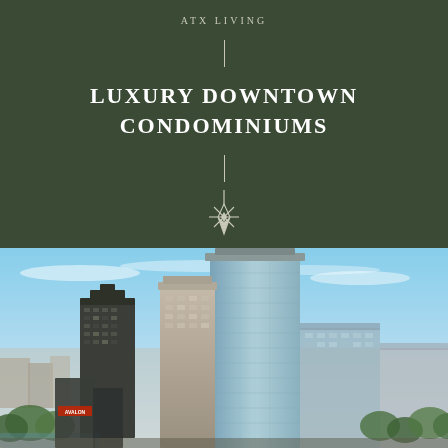ATX LIVING
LUXURY DOWNTOWN CONDOMINIUMS
[Figure (photo): Aerial cityscape photo of downtown Austin Texas showing tall glass and concrete high-rise condominium towers against a blue sky with surrounding urban landscape and waterway visible]